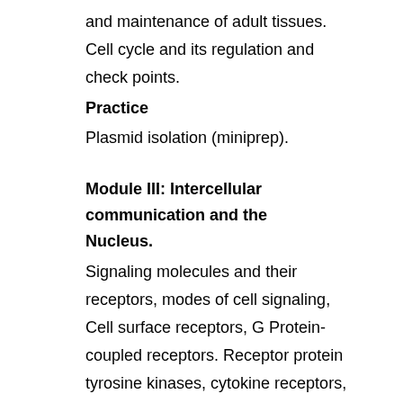and maintenance of adult tissues. Cell cycle and its regulation and check points.
Practice
Plasmid isolation (miniprep).
Module III: Intercellular communication and the Nucleus.
Signaling molecules and their receptors, modes of cell signaling, Cell surface receptors, G Protein-coupled receptors. Receptor protein tyrosine kinases, cytokine receptors, Pathways of Intracellular signal